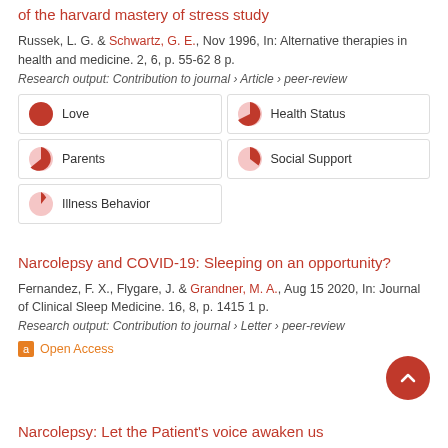of the harvard mastery of stress study
Russek, L. G. & Schwartz, G. E., Nov 1996, In: Alternative therapies in health and medicine. 2, 6, p. 55-62 8 p.
Research output: Contribution to journal › Article › peer-review
[Figure (infographic): Five keyword badges with pie-chart icons showing relevance percentages: Love (100%), Health Status (75%), Parents (65%), Social Support (25%), Illness Behavior (15%)]
Narcolepsy and COVID-19: Sleeping on an opportunity?
Fernandez, F. X., Flygare, J. & Grandner, M. A., Aug 15 2020, In: Journal of Clinical Sleep Medicine. 16, 8, p. 1415 1 p.
Research output: Contribution to journal › Letter › peer-review
Open Access
Narcolepsy: Let the Patient's voice awaken us